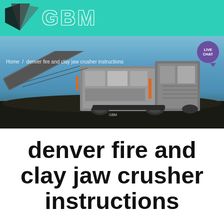[Figure (logo): GBM company logo with triangular arrow graphic and GBM text on teal/green header bar]
[Figure (photo): Large industrial jaw crusher machine photographed outdoors at a mining or quarry site, with conveyor belts, dark crushed material on ground, and blue sky background. Breadcrumb navigation reads: Home / denver fire and clay jaw crusher instructions. Live Chat bubble visible in top right.]
denver fire and clay jaw crusher instructions